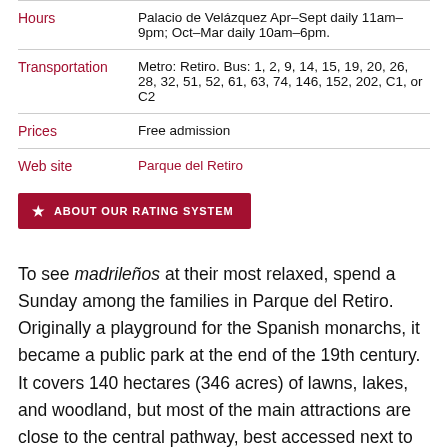|  |  |
| --- | --- |
| Hours | Palacio de Velázquez Apr–Sept daily 11am–9pm; Oct–Mar daily 10am–6pm. |
| Transportation | Metro: Retiro. Bus: 1, 2, 9, 14, 15, 19, 20, 26, 28, 32, 51, 52, 61, 63, 74, 146, 152, 202, C1, or C2 |
| Prices | Free admission |
| Web site | Parque del Retiro |
ABOUT OUR RATING SYSTEM
To see madrileños at their most relaxed, spend a Sunday among the families in Parque del Retiro. Originally a playground for the Spanish monarchs, it became a public park at the end of the 19th century. It covers 140 hectares (346 acres) of lawns, lakes, and woodland, but most of the main attractions are close to the central pathway, best accessed next to the triumphal gate, Puerta de Alcalá. The park offers gentle recreational